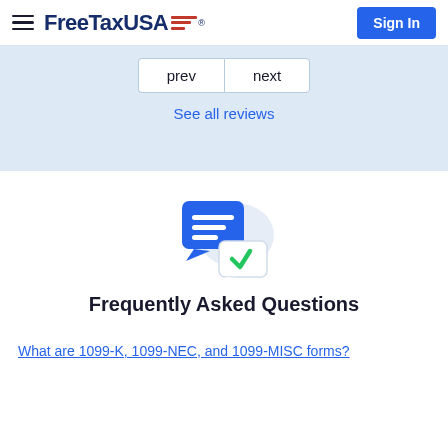FreeTaxUSA® Sign In
prev   next
See all reviews
[Figure (illustration): Chat bubble FAQ icon: a blue speech bubble with white lines and a smaller white speech bubble with a green checkmark]
Frequently Asked Questions
What are 1099-K, 1099-NEC, and 1099-MISC forms?